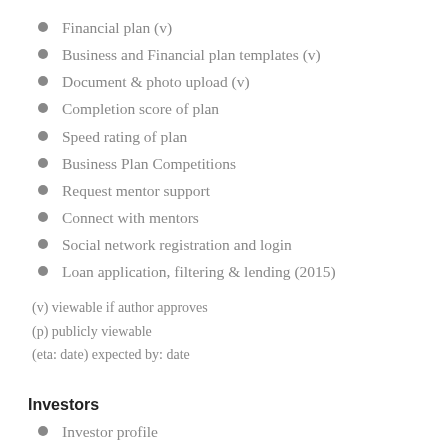Financial plan (v)
Business and Financial plan templates (v)
Document & photo upload (v)
Completion score of plan
Speed rating of plan
Business Plan Competitions
Request mentor support
Connect with mentors
Social network registration and login
Loan application, filtering & lending (2015)
(v) viewable if author approves
(p) publicly viewable
(eta: date) expected by: date
Investors
Investor profile